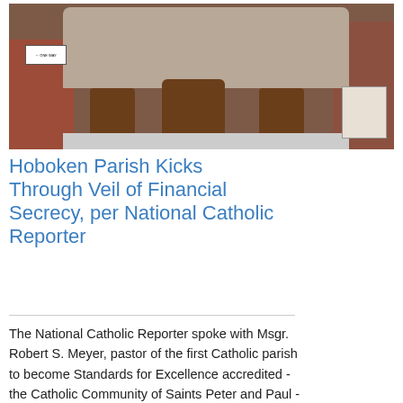[Figure (photo): Exterior photograph of a Catholic church building facade with brick walls, three arched doorways with ornate stone detailing, large wooden doors, steps leading to entrance, a street sign on the left, and adjacent buildings on either side.]
Hoboken Parish Kicks Through Veil of Financial Secrecy, per National Catholic Reporter
The National Catholic Reporter spoke with Msgr. Robert S. Meyer, pastor of the first Catholic parish to become Standards for Excellence accredited - the Catholic Community of Saints Peter and Paul - regarding their decision to earn accreditation.'The goal is that prudent stewardship is a vehicle 'so you can pass it over to the next